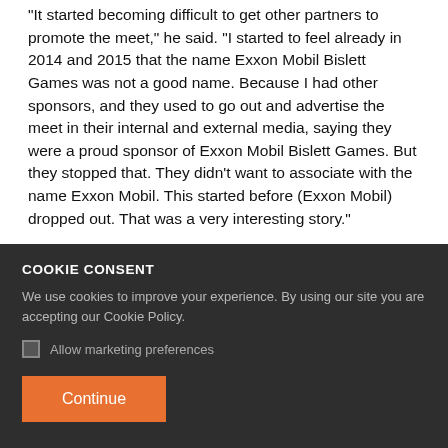"It started becoming difficult to get other partners to promote the meet," he said. "I started to feel already in 2014 and 2015 that the name Exxon Mobil Bislett Games was not a good name. Because I had other sponsors, and they used to go out and advertise the meet in their internal and external media, saying they were a proud sponsor of Exxon Mobil Bislett Games. But they stopped that. They didn't want to associate with the name Exxon Mobil. This started before (Exxon Mobil) dropped out. That was a very interesting story."
COOKIE CONSENT
We use cookies to improve your experience. By using our site you are accepting our Cookie Policy.
Allow marketing preferences
Continue